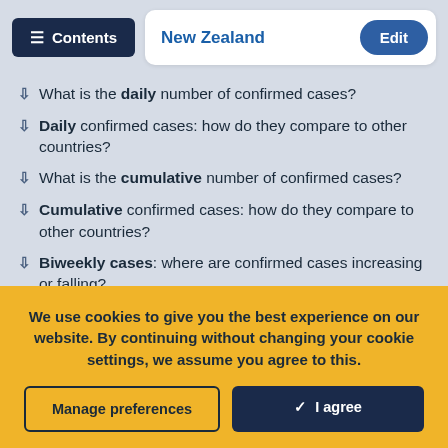What is the daily number of confirmed cases?
Daily confirmed cases: how do they compare to other countries?
What is the cumulative number of confirmed cases?
Cumulative confirmed cases: how do they compare to other countries?
Biweekly cases: where are confirmed cases increasing or falling?
Global cases in comparison: how are cases changing across the world?
We use cookies to give you the best experience on our website. By continuing without changing your cookie settings, we assume you agree to this.
Manage preferences
✓  I agree